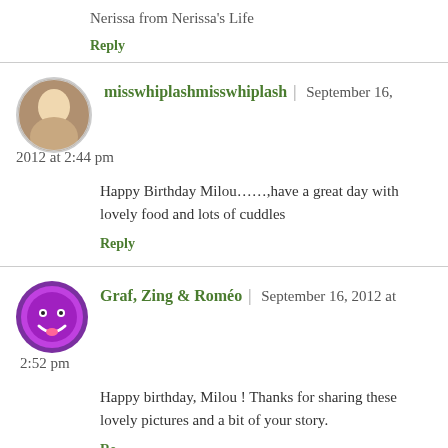Nerissa from Nerissa’s Life
Reply
misswhiplashmisswhiplash | September 16, 2012 at 2:44 pm
Happy Birthday Milou……,have a great day with lovely food and lots of cuddles
Reply
Graf, Zing & Roméo | September 16, 2012 at 2:52 pm
Happy birthday, Milou ! Thanks for sharing these lovely pictures and a bit of your story.
Reply